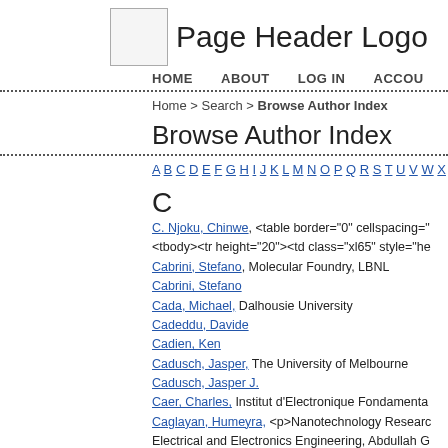Page Header Logo
HOME   ABOUT   LOG IN   ACCOU
Home > Search > Browse Author Index
Browse Author Index
A B C D E F G H I J K L M N O P Q R S T U V W X
C
C. Njoku, Chinwe, <table border="0" cellspacing="...
Cabrini, Stefano, Molecular Foundry, LBNL
Cabrini, Stefano
Cada, Michael, Dalhousie University
Cadeddu, Davide
Cadien, Ken
Cadusch, Jasper, The University of Melbourne
Cadusch, Jasper J.
Caer, Charles, Institut d'Electronique Fondamenta
Caglayan, Humeyra, <p>Nanotechnology Resear... Electrical and Electronics Engineering, Abdullah G
Caglayan, Humeyra, Nanotechnology Research C
Caglayan, Humeyra, Abdullah Gul University (Turk
Caglayan, Humeyra, <p class="Affiliation">Depart... Turkey</p>